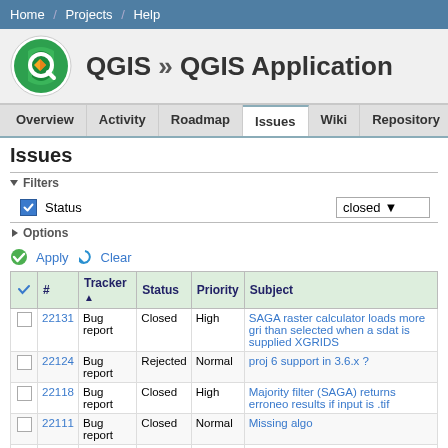Home / Projects / Help
QGIS » QGIS Application
Overview  Activity  Roadmap  Issues  Wiki  Repository
Issues
▼ Filters
Status  closed
▶ Options
Apply  Clear
| ✔ | # | Tracker ▲ | Status | Priority | Subject |
| --- | --- | --- | --- | --- | --- |
| □ | 22131 | Bug report | Closed | High | SAGA raster calculator loads more gri than selected when a sdat is supplied XGRIDS |
| □ | 22124 | Bug report | Rejected | Normal | proj 6 support in 3.6.x ? |
| □ | 22118 | Bug report | Closed | High | Majority filter (SAGA) returns erroneo results if input is .tif |
| □ | 22111 | Bug report | Closed | Normal | Missing algo |
| □ | 22107 | Bug report | Closed | High | Create vector New shapefile POLYGG |